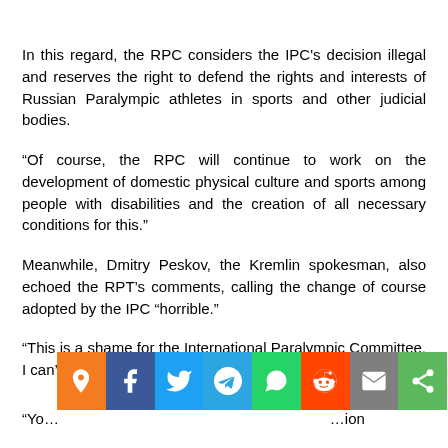In this regard, the RPC considers the IPC's decision illegal and reserves the right to defend the rights and interests of Russian Paralympic athletes in sports and other judicial bodies.
“Of course, the RPC will continue to work on the development of domestic physical culture and sports among people with disabilities and the creation of all necessary conditions for this.”
Meanwhile, Dmitry Peskov, the Kremlin spokesman, also echoed the RPT’s comments, calling the change of course adopted by the IPC “horrible.”
“This is a shame for the International Paralympic Committee, I can’t say otherwise,” Peskov said.
[Figure (infographic): Social media share bar with buttons: orange location pin, Facebook, Twitter, Telegram, WhatsApp, Reddit, Email, Share]
“Yo... ...ion